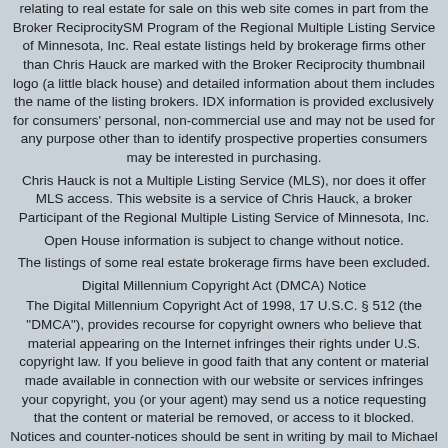relating to real estate for sale on this web site comes in part from the Broker ReciprocitySM Program of the Regional Multiple Listing Service of Minnesota, Inc. Real estate listings held by brokerage firms other than Chris Hauck are marked with the Broker Reciprocity thumbnail logo (a little black house) and detailed information about them includes the name of the listing brokers. IDX information is provided exclusively for consumers' personal, non-commercial use and may not be used for any purpose other than to identify prospective properties consumers may be interested in purchasing.
Chris Hauck is not a Multiple Listing Service (MLS), nor does it offer MLS access. This website is a service of Chris Hauck, a broker Participant of the Regional Multiple Listing Service of Minnesota, Inc.
Open House information is subject to change without notice.
The listings of some real estate brokerage firms have been excluded.
Digital Millennium Copyright Act (DMCA) Notice
The Digital Millennium Copyright Act of 1998, 17 U.S.C. § 512 (the "DMCA"), provides recourse for copyright owners who believe that material appearing on the Internet infringes their rights under U.S. copyright law. If you believe in good faith that any content or material made available in connection with our website or services infringes your copyright, you (or your agent) may send us a notice requesting that the content or material be removed, or access to it blocked. Notices and counter-notices should be sent in writing by mail to Michael Bisping, Director, Customer Relations, Regional Multiple Listing Service of Minnesota, Inc, 2550 University Avenue West, Suite 259S, Saint Paul, MN 55114 or by email to